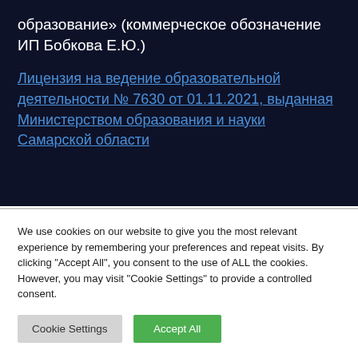образование» (коммерческое обозначение ИП Бобкова Е.Ю.)
Лицензия на ведение образовательной деятельности № 7630 от 01.11.2021, выданная Министерством образования и науки Самарской области
We use cookies on our website to give you the most relevant experience by remembering your preferences and repeat visits. By clicking "Accept All", you consent to the use of ALL the cookies. However, you may visit "Cookie Settings" to provide a controlled consent.